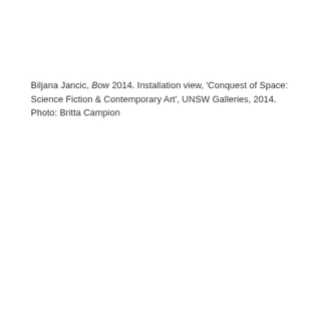Biljana Jancic, Bow 2014. Installation view, 'Conquest of Space: Science Fiction & Contemporary Art', UNSW Galleries, 2014. Photo: Britta Campion